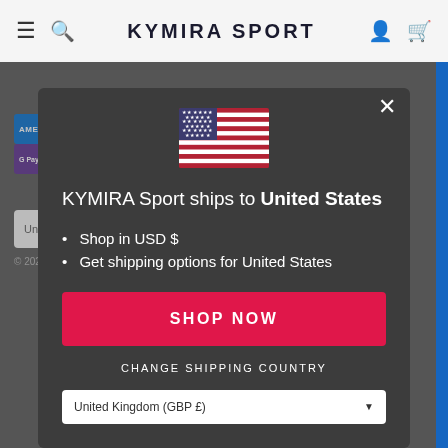KYMIRA SPORT
[Figure (screenshot): Modal dialog on Kymira Sport website showing US flag, shipping message, bullet list, Shop Now button, and country selector]
KYMIRA Sport ships to United States
Shop in USD $
Get shipping options for United States
SHOP NOW
CHANGE SHIPPING COUNTRY
United Kingdom (GBP £)